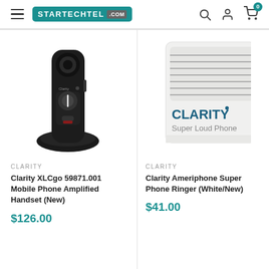STARTECHTEL.COM
[Figure (photo): Clarity XLCgo mobile phone amplified handset in black, seated in a charging dock, shown against white background]
CLARITY
Clarity XLCgo 59871.001 Mobile Phone Amplified Handset (New)
$126.00
[Figure (photo): Clarity Ameriphone Super Phone Ringer in white with speaker grille, partially cropped on right side]
CLARITY
Clarity Ameriphone Super Phone Ringer (White/New)
$41.00